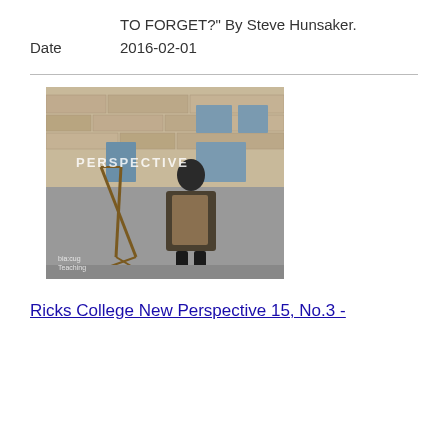TO FORGET?" By Steve Hunsaker.
Date    2016-02-01
[Figure (photo): A man in an apron stands outdoors in front of a stone building, near an easel. Text overlay reads 'PERSPECTIVE'. Small watermark text at bottom left reads 'bia:cug Teaching'.]
Ricks College New Perspective 15, No.3 -